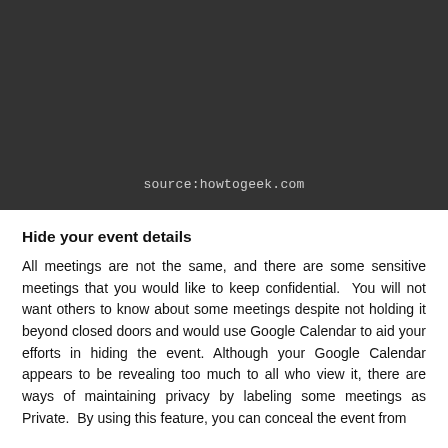[Figure (screenshot): Dark screenshot area from howtogeek.com showing a Google Calendar interface with a dark background]
source:howtogeek.com
Hide your event details
All meetings are not the same, and there are some sensitive meetings that you would like to keep confidential. You will not want others to know about some meetings despite not holding it beyond closed doors and would use Google Calendar to aid your efforts in hiding the event. Although your Google Calendar appears to be revealing too much to all who view it, there are ways of maintaining privacy by labeling some meetings as Private. By using this feature, you can conceal the event from